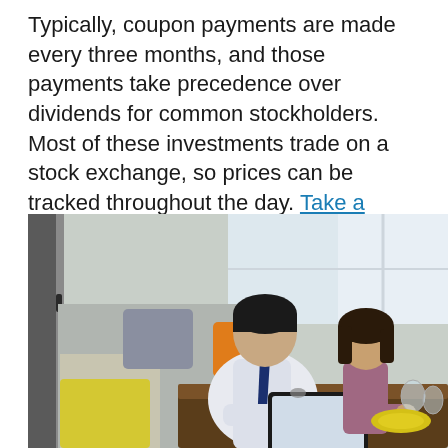Typically, coupon payments are made every three months, and those payments take precedence over dividends for common stockholders. Most of these investments trade on a stock exchange, so prices can be tracked throughout the day. Take a closer look at the benefits.
[Figure (photo): A man in a dress shirt and tie sitting at a table working on a tablet device, with a young girl beside him also touching the tablet. They are seated at a dining table in a bright room with windows. There is a yellow cushion on the bench seat, an orange pillow in the background, a yellow plate, and glasses on the table.]